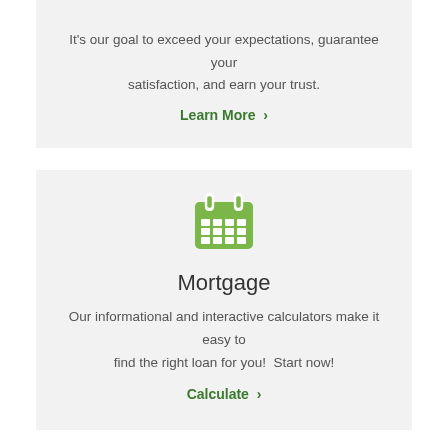It's our goal to exceed your expectations, guarantee your satisfaction, and earn your trust.
Learn More >
[Figure (illustration): Green calendar icon]
Mortgage
Our informational and interactive calculators make it easy to find the right loan for you!  Start now!
Calculate >